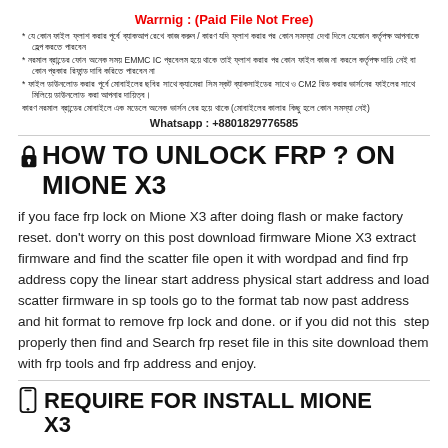Warrnig : (Paid File Not Free)
যে কোন ফাইল ফ্লাশ করার পূর্বে ব্যাকআপ রেখে কাজ করুন / কারণ যদি ফ্লাশ করার পর কোন সমস্যা দেখা দিলে যেকোন কর্তৃপক্ষ আপনাকে হেল্প করতে পারবেন
নরমাল ব্রান্ডের ফোন অনেক সময় EMMC IC প্রবেলম হয়ে থাকে তাই ফ্লাশ করার পর কোন ফাইল কাজ না করলে কর্তৃপক্ষ দায়ি নেই বা কোন প্রকার রিফান্ড দাবি করিতে পারবেন না
ফাইল ডাউনলোড করার পূর্বে মোবাইলের ছবির সাথে ক্যামেরা সিম স্কট ব্যাকসাইডের সাথে ও CM2 রিড করার ভার্সনের ফাইলের সাথে মিলিয়ে ডাউনলোড করা আপনার দায়িত্ব। কারণ নরমাল ব্রান্ডের মোবাইলে এক মডেলে অনেক ভার্সন বের হয়ে থাকে (মোবাইলের কালার কিছু হলে কোন সমস্যা নেই)
Whatsapp : +8801829776585
HOW TO UNLOCK FRP ? ON MIONE X3
if you face frp lock on Mione X3 after doing flash or make factory reset. don't worry on this post download firmware Mione X3 extract firmware and find the scatter file open it with wordpad and find frp address copy the linear start address physical start address and load scatter firmware in sp tools go to the format tab now past address and hit format to remove frp lock and done. or if you did not this step properly then find and Search frp reset file in this site download them with frp tools and frp address and enjoy.
REQUIRE FOR INSTALL MIONE X3